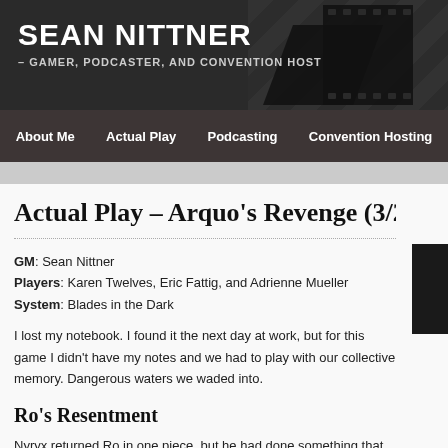SEAN NITTNER – GAMER, PODCASTER, AND CONVENTION HOST
About Me | Actual Play | Podcasting | Convention Hosting
Actual Play – Arquo's Revenge (3/22/201…
GM: Sean Nittner
Players: Karen Twelves, Eric Fattig, and Adrienne Mueller
System: Blades in the Dark
I lost my notebook. I found it the next day at work, but for this game I didn't have my notes and we had to play with our collective memory. Dangerous waters we waded into.
Ro's Resentment
Nyryx returned Ro in one piece, but he had done something that normally he wouldn't, he let Ro see what what was happening, mostly just to make him jealous as all hell with Nyryx in his body, he did better at picking…